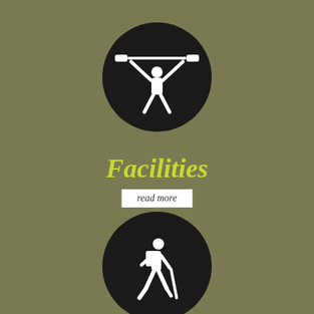[Figure (illustration): Black circle icon with white weightlifter silhouette holding a barbell overhead]
Facilities
read more
[Figure (illustration): Black circle icon with white hiker silhouette carrying backpack and walking stick]
Activities
read more